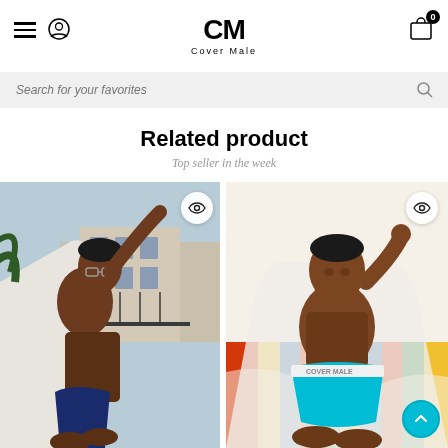Cover Male
Search for your favorites
Related product
Top seller in the week
[Figure (photo): Male model wearing navy blue underwear, posing near a balcony window with European architecture in background, wearing glasses and white open shirt]
[Figure (photo): Male model wearing blue/teal underwear, sitting on colorful striped cushions, wearing open white shirt, casual pose]